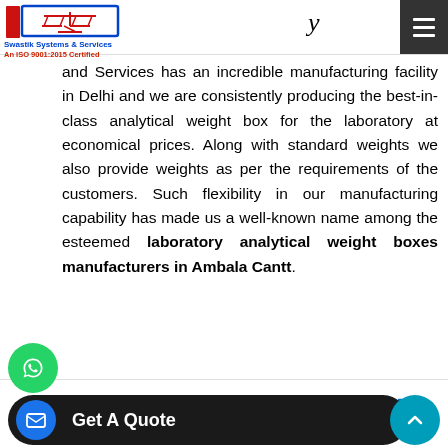Swastik Systems & Services — An ISO 9001:2015 Certified
[Figure (logo): Swastik Systems & Services logo with balance scale icon, red border, blue text]
and Services has an incredible manufacturing facility in Delhi and we are consistently producing the best-in-class analytical weight box for the laboratory at economical prices. Along with standard weights we also provide weights as per the requirements of the customers. Such flexibility in our manufacturing capability has made us a well-known name among the esteemed laboratory analytical weight boxes manufacturers in Ambala Cantt.
Exporters of Laboratory Analytical Weight Box
Home  About Us  Our Range  Contact  Call Us